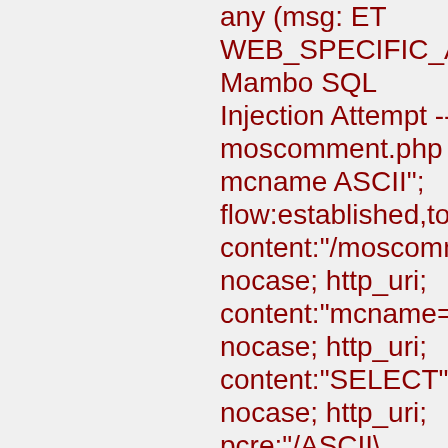any (msg: ET WEB_SPECIFIC_APPS Mambo SQL Injection Attempt -- moscomment.php mcname ASCII"; flow:established,to_server; content:"/moscomment.ph nocase; http_uri; content:"mcname="; nocase; http_uri; content:"SELECT"; nocase; http_uri; pcre:"/ASCII\(.+SELECT/Ui"; reference:cve,CVE-2006-7150; reference:url,www.securit reference:url,doc.emergin classtype:web-application-attack; sid:2004431; rev:8; metadata:affected_produc Web_Server_Applicatio